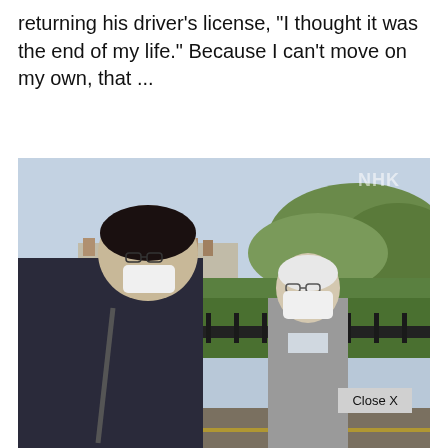returning his driver's license, "I thought it was the end of my life." Because I can't move on my own, that ...
[Figure (photo): Two men wearing face masks walking outdoors. A younger man in dark clothing with a bag faces away from camera; an older man in a gray suit and glasses faces toward the camera. Background shows a metal fence, green trees, and a suburban landscape. NHK watermark in top-right corner.]